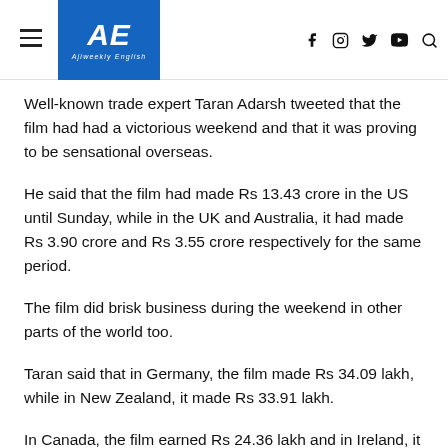AE Ajiweekly English
Well-known trade expert Taran Adarsh tweeted that the film had had a victorious weekend and that it was proving to be sensational overseas.
He said that the film had made Rs 13.43 crore in the US until Sunday, while in the UK and Australia, it had made Rs 3.90 crore and Rs 3.55 crore respectively for the same period.
The film did brisk business during the weekend in other parts of the world too.
Taran said that in Germany, the film made Rs 34.09 lakh, while in New Zealand, it made Rs 33.91 lakh.
In Canada, the film earned Rs 24.36 lakh and in Ireland, it made Rs 25.83 lakh. In Tamil Nadu, the film continued to impress, registering almost 85 per cent occupancy in theatres on its first Monday.